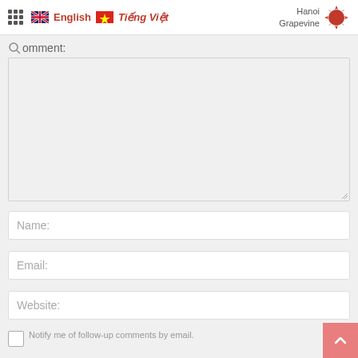English  Tiếng Việt  Hanoi Grapevine
Comment:
Name:
Email:
Website:
Notify me of follow-up comments by email.